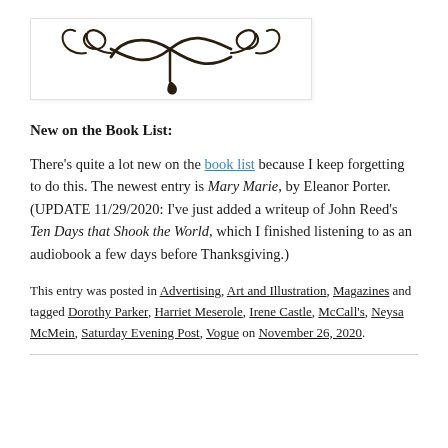[Figure (illustration): Decorative scrollwork / flourish ornament logo in dark brown on white background, inside a light-bordered rectangle with subtle shadow.]
New on the Book List:
There’s quite a lot new on the book list because I keep forgetting to do this. The newest entry is Mary Marie, by Eleanor Porter. (UPDATE 11/29/2020: I’ve just added a writeup of John Reed’s Ten Days that Shook the World, which I finished listening to as an audiobook a few days before Thanksgiving.)
This entry was posted in Advertising, Art and Illustration, Magazines and tagged Dorothy Parker, Harriet Meserole, Irene Castle, McCall’s, Neysa McMein, Saturday Evening Post, Vogue on November 26, 2020.